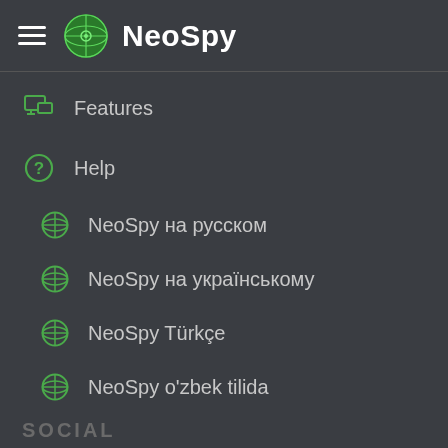NeoSpy
Features
Help
NeoSpy на русском
NeoSpy на українському
NeoSpy Türkçe
NeoSpy o'zbek tilida
SOCIAL